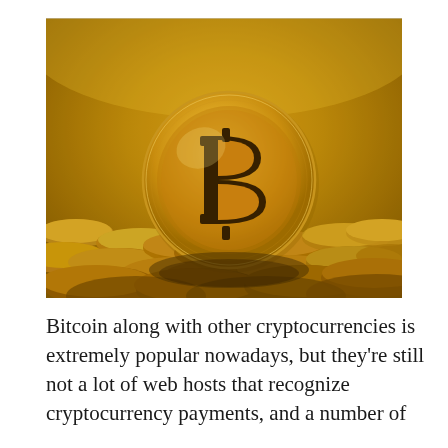[Figure (photo): A gold Bitcoin coin standing upright among a pile of other gold coins, with warm golden bokeh background lighting. The Bitcoin symbol (₿) is prominently displayed on the coin face.]
Bitcoin along with other cryptocurrencies is extremely popular nowadays, but they're still not a lot of web hosts that recognize cryptocurrency payments, and a number of the more site-wide features to come to be